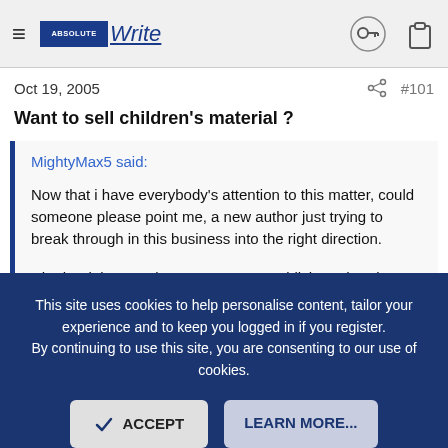WritersByWrite — header with hamburger menu, logo, key icon, clipboard icon
Oct 19, 2005   #101
Want to sell children's material ?
MightyMax5 said:

Now that i have everybody's attention to this matter, could someone please point me, a new author just trying to break through in this business into the right direction.

whether it be a real agency or even publishers that do not require agents.
This site uses cookies to help personalise content, tailor your experience and to keep you logged in if you register. By continuing to use this site, you are consenting to our use of cookies.